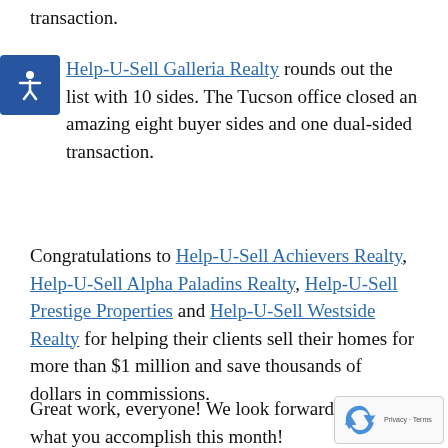transaction.
Help-U-Sell Galleria Realty rounds out the list with 10 sides. The Tucson office closed an amazing eight buyer sides and one dual-sided transaction.
Congratulations to Help-U-Sell Achievers Realty, Help-U-Sell Alpha Paladins Realty, Help-U-Sell Prestige Properties and Help-U-Sell Westside Realty for helping their clients sell their homes for more than $1 million and save thousands of dollars in commissions.
Great work, everyone! We look forward to seeing what you accomplish this month!